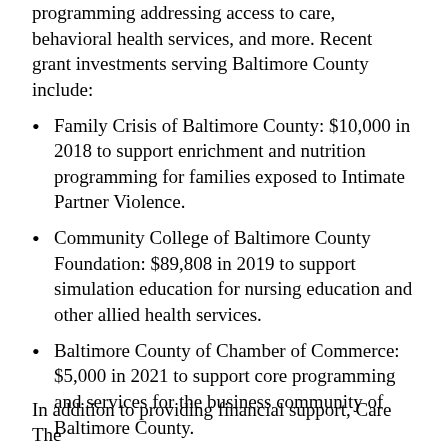programming addressing access to care, behavioral health services, and more. Recent grant investments serving Baltimore County include:
Family Crisis of Baltimore County: $10,000 in 2018 to support enrichment and nutrition programming for families exposed to Intimate Partner Violence.
Community College of Baltimore County Foundation: $89,808 in 2019 to support simulation education for nursing education and other allied health services.
Baltimore County of Chamber of Commerce: $5,000 in 2021 to support core programming and services for the business community of Baltimore County.
Baltimore County Health Department: $50,000 in 2021 to enhance upstream, community-driven interventions through authentic partnership and engagement with communities to address diabetes.
In addition to providing financial support, Care The